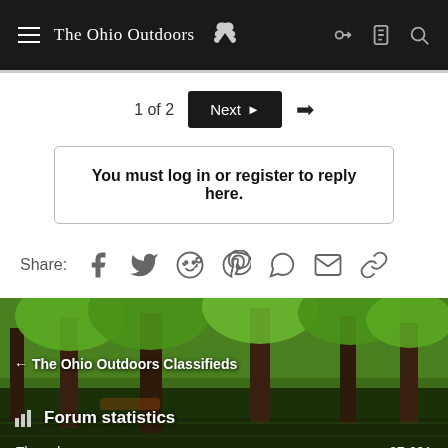The Ohio Outdoors
1 of 2  Next ▶  →
You must log in or register to reply here.
Share:
[Figure (photo): Forest nature scene with tall trees reflecting on water, used as background for The Ohio Outdoors Classifieds section and forum statistics]
Forum statistics
Threads: 27,691
Messages: 869,031